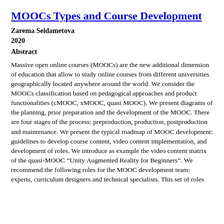MOOCs Types and Course Development
Zarema Seidametova
2020
Abstract
Massive open online courses (MOOCs) are the new additional dimension of education that allow to study online courses from different universities geographically located anywhere around the world. We consider the MOOCs classification based on pedagogical approaches and product functionalities (cMOOC, xMOOC, quasi MOOC). We present diagrams of the planning, prior preparation and the development of the MOOC. There are four stages of the process: preproduction, production, postproduction and maintenance. We present the typical roadmap of MOOC development: guidelines to develop course content, video content implementation, and development of roles. We introduce as example the video content matrix of the quasi-MOOC “Unity Augmented Reality for Beginners”. We recommend the following roles for the MOOC development team: experts, curriculum designers and technical specialists. This set of roles